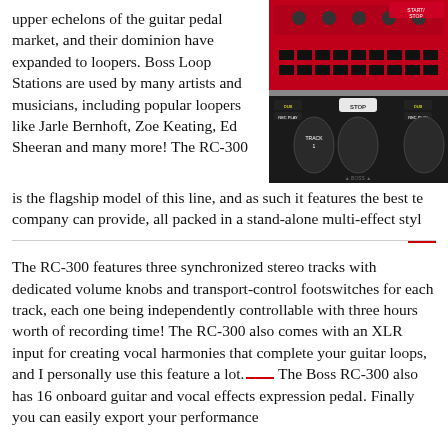upper echelons of the guitar pedal market, and their dominion have expanded to loopers. Boss Loop Stations are used by many artists and musicians, including popular loopers like Jarle Bernhoft, Zoe Keating, Ed Sheeran and many more! The RC-300 is the flagship model of this line, and as such it features the best te company can provide, all packed in a stand-alone multi-effect styl
[Figure (photo): Close-up photo of a Boss RC-300 loop station pedal showing red top panel with knobs and black footswitches labeled TRACK 1, STOP, with DUB REC PLAY indicators]
The RC-300 features three synchronized stereo tracks with dedicated volume knobs and transport-control footswitches for each track, each one being independently controllable with three hours worth of recording time! The RC-300 also comes with an XLR input for creating vocal harmonies that complete your guitar loops, and I personally use this feature a lot. The Boss RC-300 also has 16 onboard guitar and vocal effects expression pedal. Finally you can easily export your performance
The main concern that I have with it is its bulky size, but it is a ne station. Its big frame affords you 8 switches for smooth realtime c